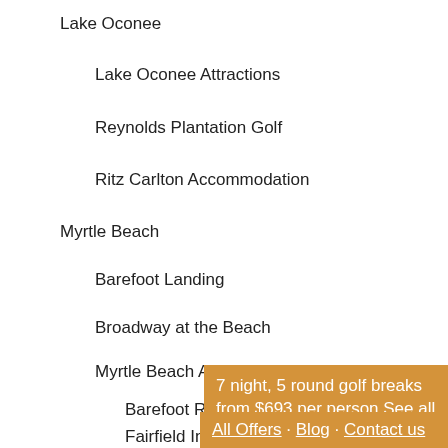Lake Oconee
Lake Oconee Attractions
Reynolds Plantation Golf
Ritz Carlton Accommodation
Myrtle Beach
Barefoot Landing
Broadway at the Beach
Myrtle Beach Accommodation
Barefoot Resort
Fairfield Inn Broa…
Hampton Inn Broa…
Hilton Myrtle Bea…
7 night, 5 round golf breaks from $693 per person See all Arizona offers...
All Offers · Blog · Contact us